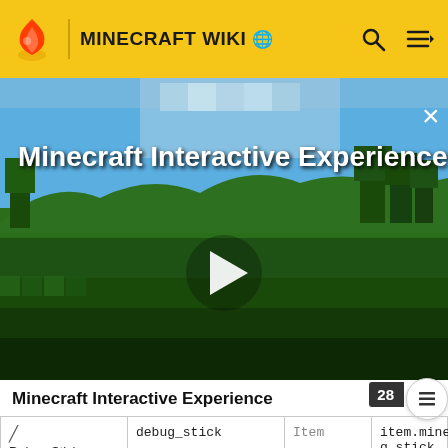MINECRAFT WIKI
[Figure (screenshot): Minecraft Interactive Experience video thumbnail showing a Minecraft landscape with grass and sky, with a play button in the center. Title overlay reads 'Minecraft Interactive Experience'. Close button (×) in top right.]
Minecraft Interactive Experience
|  | debug_stick | Item | item.minecraft.debug_stick |
| --- | --- | --- | --- |
| / Debug Stick | debug_stick | Item | item.minecraft.debug_stick |